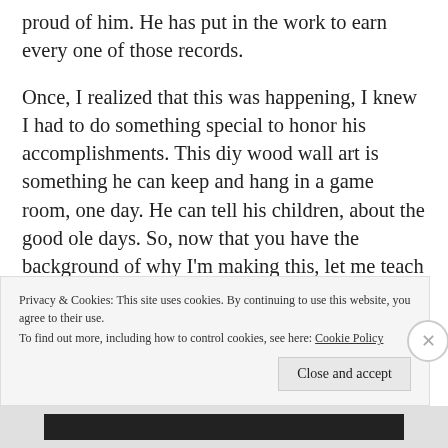proud of him. He has put in the work to earn every one of those records.
Once, I realized that this was happening, I knew I had to do something special to honor his accomplishments. This diy wood wall art is something he can keep and hang in a game room, one day. He can tell his children, about the good ole days. So, now that you have the background of why I’m making this, let me teach you how to make it.
Privacy & Cookies: This site uses cookies. By continuing to use this website, you agree to their use.
To find out more, including how to control cookies, see here:
Cookie Policy
Close and accept